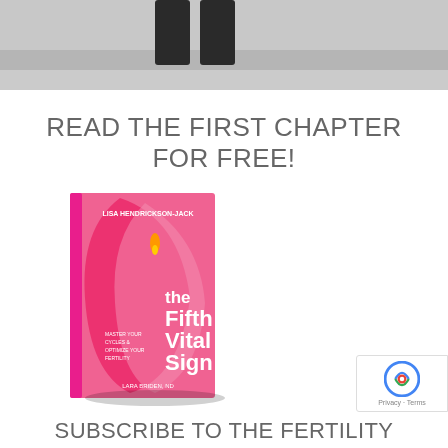[Figure (photo): Black and white photo banner showing person's legs and rocks near water, cropped at top of page]
READ THE FIRST CHAPTER FOR FREE!
[Figure (photo): Book cover of 'The Fifth Vital Sign' by Lisa Hendrickson-Jack, pink cover with flower/leaf design]
SUBSCRIBE TO THE FERTILITY FRIDAY NEWSLETTER!